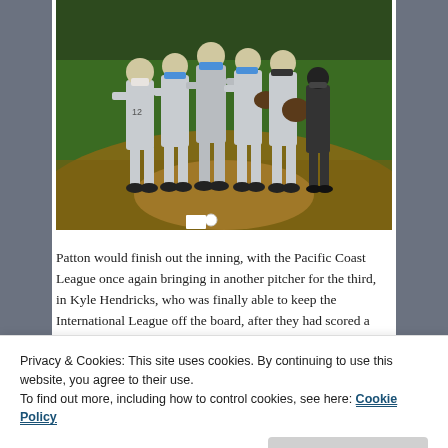[Figure (photo): Baseball players gathered on the pitcher's mound during a game. Several players in gray away uniforms, including one with number 12, stand in a huddle on the dirt mound with a green outfield visible in the background.]
Patton would finish out the inning, with the Pacific Coast League once again bringing in another pitcher for the third, in Kyle Hendricks, who was finally able to keep the International League off the board, after they had scored a couple of runs in each of the previous two innings.
Privacy & Cookies: This site uses cookies. By continuing to use this website, you agree to their use.
To find out more, including how to control cookies, see here: Cookie Policy